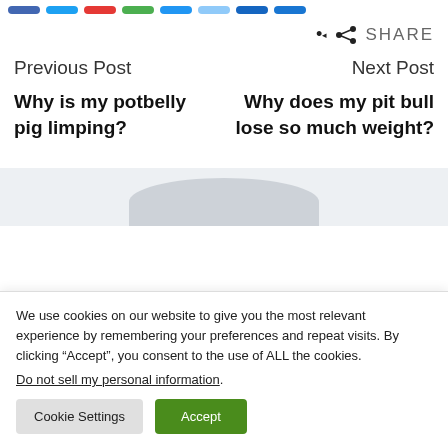[Social share icon bar at top]
SHARE
Previous Post
Next Post
Why is my potbelly pig limping?
Why does my pit bull lose so much weight?
We use cookies on our website to give you the most relevant experience by remembering your preferences and repeat visits. By clicking “Accept”, you consent to the use of ALL the cookies.
Do not sell my personal information.